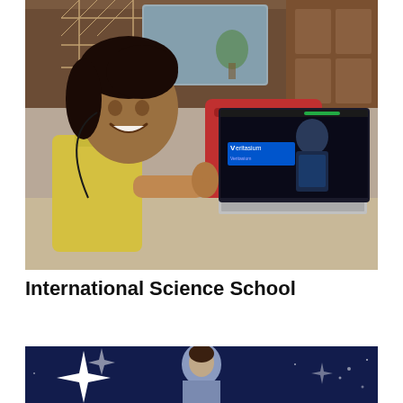[Figure (photo): A smiling young girl in a yellow shirt sitting at a table with a laptop showing the Veritasium YouTube channel on screen. She is making a thumbs-up gesture. Behind her is a red chair and wooden cabinet with decorative metalwork.]
International Science School
[Figure (photo): Bottom portion of another photo showing a dark blue/space-themed background with a bright white star on the left side and what appears to be a person in the center.]